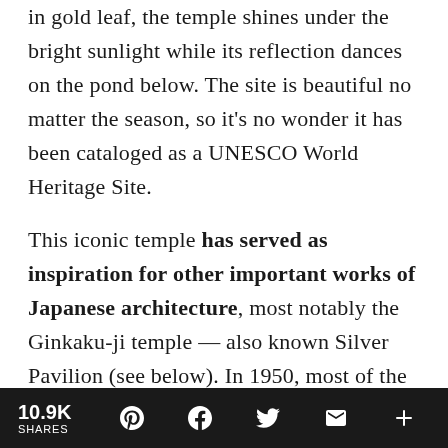in gold leaf, the temple shines under the bright sunlight while its reflection dances on the pond below. The site is beautiful no matter the season, so it's no wonder it has been cataloged as a UNESCO World Heritage Site.
This iconic temple has served as inspiration for other important works of Japanese architecture, most notably the Ginkaku-ji temple — also known Silver Pavilion (see below). In 1950, most of the building was consumed by a fire started by a young monk who was apparently trying to commit suicide.
10.9K SHARES